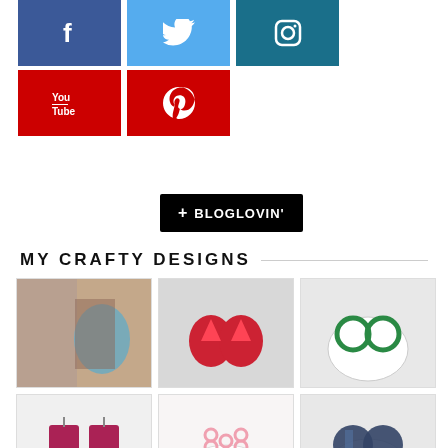[Figure (infographic): Social media buttons: Facebook (dark blue), Twitter (light blue), Instagram (dark teal), YouTube (red), Pinterest (red)]
[Figure (infographic): Bloglovin follow button in black with plus symbol]
MY CRAFTY DESIGNS
[Figure (photo): Grid of 9 crafty jewelry design product photos showing various earrings and jewelry items]
[Figure (photo): Blue beaded earring on ear]
[Figure (photo): Red heart shaped earrings]
[Figure (photo): Green hoop earrings on white cup]
[Figure (photo): Ugly sweater earrings]
[Figure (photo): Pink tatted lace earrings]
[Figure (photo): Blue and black earrings on white cup]
[Figure (photo): Red beaded item]
[Figure (photo): Small earrings]
[Figure (photo): White cup with jewelry]